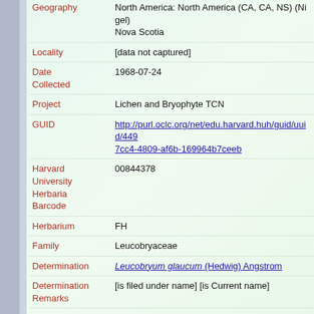Geography: North America: North America (CA, CA, NS) (Nigel) Nova Scotia
Locality: [data not captured]
Date Collected: 1968-07-24
Project: Lichen and Bryophyte TCN
GUID: http://purl.oclc.org/net/edu.harvard.huh/guid/uuid/449...7cc4-4809-af6b-169964b7ceeb
Harvard University Herbaria Barcode: 00844378
Herbarium: FH
Family: Leucobryaceae
Determination: Leucobryum glaucum (Hedwig) Angstrom
Determination Remarks: [is filed under name] [is Current name]
Sex: not determined
Phenology: NotDetermined
Preparation Type: Packet
Preparation Method: Dried